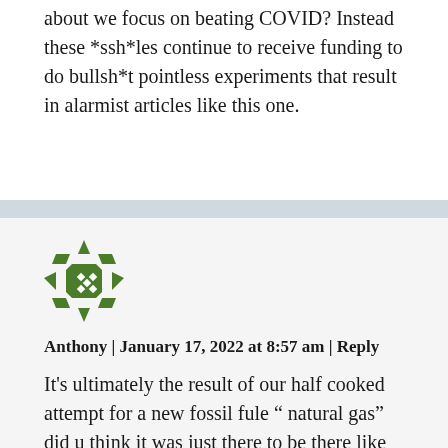about we focus on beating COVID? Instead these *ssh*les continue to receive funding to do bullsh*t pointless experiments that result in alarmist articles like this one.
[Figure (illustration): Green pixel-art style avatar icon resembling a spiky star/shuriken shape with diamond dot pattern]
Anthony | January 17, 2022 at 8:57 am | Reply
It's ultimately the result of our half cooked attempt for a new fossil fule " natural gas" did u think it was just there to be there like I'm just waiting for the bus? No we f*cked with the construction of the planet with an attempt to use the